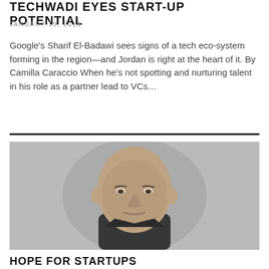TECHWADI EYES START-UP POTENTIAL
JANUARY 19, 2016
Google's Sharif El-Badawi sees signs of a tech eco-system forming in the region—and Jordan is right at the heart of it. By Camilla Caraccio When he's not spotting and nurturing talent in his role as a partner lead to VCs…
[Figure (photo): Black and white headshot portrait of a bald man wearing a dark shirt, looking directly at the camera, against a light background.]
HOPE FOR STARTUPS